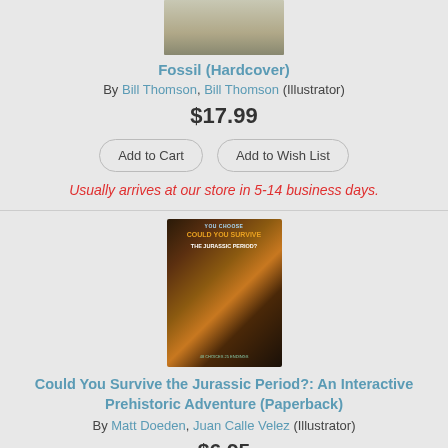[Figure (photo): Book cover for Fossil (Hardcover) - partially visible at top]
Fossil (Hardcover)
By Bill Thomson, Bill Thomson (Illustrator)
$17.99
Add to Cart | Add to Wish List
Usually arrives at our store in 5-14 business days.
[Figure (photo): Book cover for Could You Survive the Jurassic Period? - shows a T-Rex dinosaur with glowing eyes on a dark background]
Could You Survive the Jurassic Period?: An Interactive Prehistoric Adventure (Paperback)
By Matt Doeden, Juan Calle Velez (Illustrator)
$6.95
Add to Cart | Add to Wish List